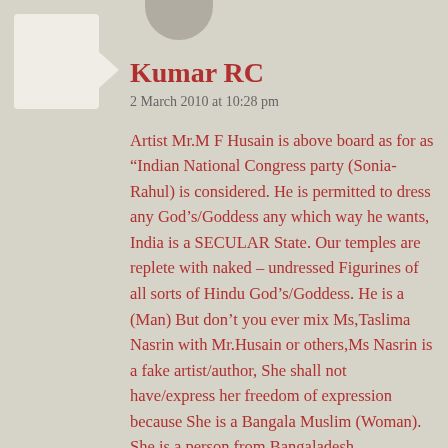Kumar RC
2 March 2010 at 10:28 pm
Artist Mr.M F Husain is above board as for as “Indian National Congress party (Sonia-Rahul) is considered. He is permitted to dress any God’s/Goddess any which way he wants, India is a SECULAR State. Our temples are replete with naked – undressed Figurines of all sorts of Hindu God’s/Goddess. He is a (Man) But don’t you ever mix Ms,Taslima Nasrin with Mr.Husain or others,Ms Nasrin is a fake artist/author, She shall not have/express her freedom of expression because She is a Bangala Muslim (Woman).
She is a person from Bangaladesh